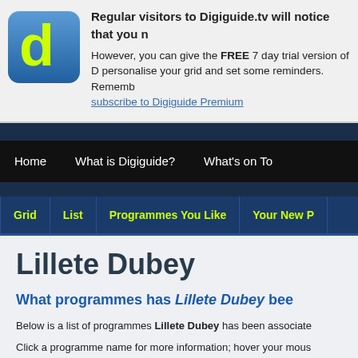Regular visitors to Digiguide.tv will notice that you n
However, you can give the FREE 7 day trial version of D personalise your grid and set some reminders. Rememb subscribe to Digiguide Premium
Home | What is Digiguide? | What's on To
Grid | List | Programmes You Like | Your New P
Lillete Dubey
What programmes has Lillete Dubey bee
Below is a list of programmes Lillete Dubey has been associate
Click a programme name for more information; hover your mous
Aan Ki Khatir [Film, 2006]